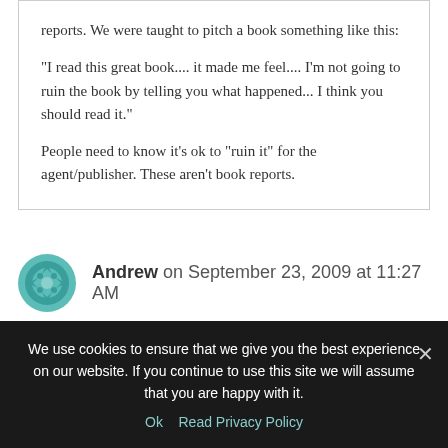reports. We were taught to pitch a book something like this:
"I read this great book.... it made me feel.... I'm not going to ruin the book by telling you what happened... I think you should read it."
People need to know it's ok to "ruin it" for the agent/publisher. These aren't book reports.
Andrew on September 23, 2009 at 11:27 AM
We use cookies to ensure that we give you the best experience on our website. If you continue to use this site we will assume that you are happy with it.
Ok   Read Privacy Policy